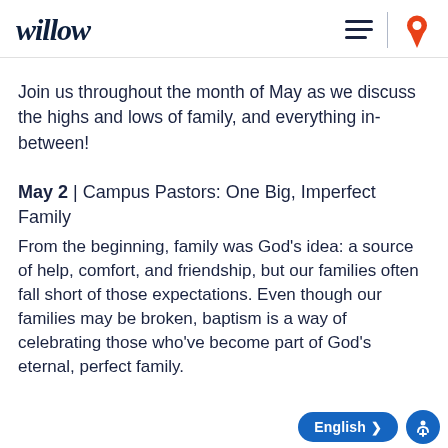willow
Join us throughout the month of May as we discuss the highs and lows of family, and everything in-between!
May 2 | Campus Pastors: One Big, Imperfect Family
From the beginning, family was God’s idea: a source of help, comfort, and friendship, but our families often fall short of those expectations. Even though our families may be broken, baptism is a way of celebrating those who’ve become part of God’s eternal, perfect family.